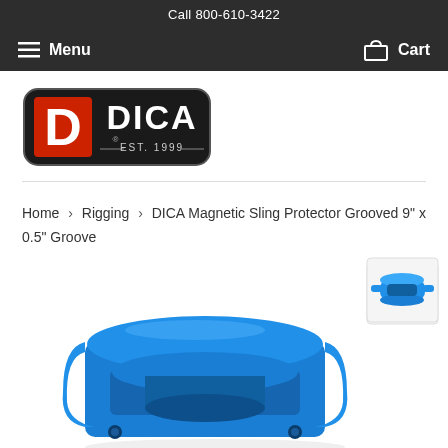Call 800-610-3422
Menu   Cart
[Figure (logo): DICA logo — black rounded rectangle background, red square with white D letter, white DICA text, EST. 1999 below]
Home › Rigging › DICA Magnetic Sling Protector Grooved 9" x 0.5" Groove
[Figure (photo): Blue DICA Magnetic Sling Protector Grooved product shown from front angle (main large image) and two smaller thumbnail views on the right side]